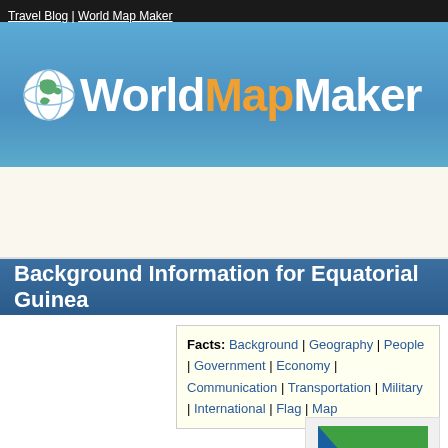Travel Blog | World Map Maker
[Figure (logo): WorldMapMaker logo with globe icon and text in white and orange on blue gradient background]
[Figure (other): Advertisement / white content area]
Background Information for Equatorial Guinea
Facts: Background | Geography | People | Government | Economy | Communication | Transportation | Military | International | Flag | Map
[Figure (illustration): Equatorial Guinea flag - green top stripe, white bottom stripe, red right stripe, blue triangle on left, coat of arms in center]
Equatorial Guinea flag